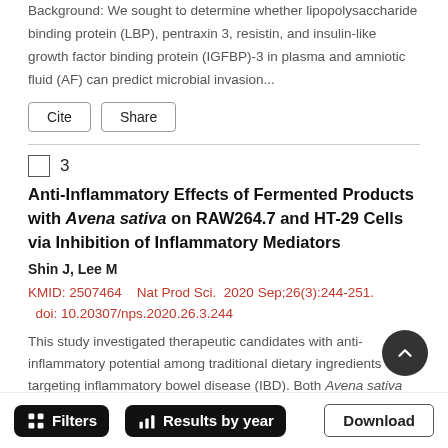Background: We sought to determine whether lipopolysaccharide binding protein (LBP), pentraxin 3, resistin, and insulin-like growth factor binding protein (IGFBP)-3 in plasma and amniotic fluid (AF) can predict microbial invasion...
Cite   Share
Anti-Inflammatory Effects of Fermented Products with Avena sativa on RAW264.7 and HT-29 Cells via Inhibition of Inflammatory Mediators
Shin J, Lee M
KMID: 2507464    Nat Prod Sci.  2020 Sep;26(3):244-251.   doi: 10.20307/nps.2020.26.3.244
This study investigated therapeutic candidates with anti-inflammatory potential among traditional dietary ingredients targeting inflammatory bowel disease (IBD). Both Avena sativa
Filters   Results by year   Download